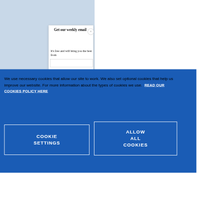[Figure (screenshot): Background showing a blue illustrated graphic (partial view of a circular eye/globe illustration in light blue tones)]
Get our weekly email
It's free and will bring you the best from
We use necessary cookies that allow our site to work. We also set optional cookies that help us improve our website. For more information about the types of cookies we use. READ OUR COOKIES POLICY HERE
COOKIE SETTINGS
ALLOW ALL COOKIES
data.